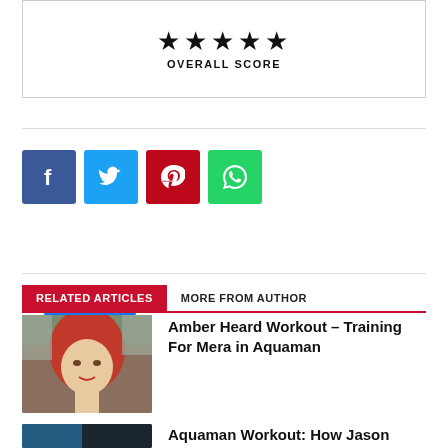[Figure (infographic): Five black filled stars rating widget with 'OVERALL SCORE' label beneath, inside a bordered box]
[Figure (infographic): Blue Facebook 'Like 45' button followed by a row of four social share icon buttons: Facebook (blue), Twitter (cyan), Pinterest (red), WhatsApp (green)]
RELATED ARTICLES   MORE FROM AUTHOR
Amber Heard Workout – Training For Mera in Aquaman
Aquaman Workout: How Jason Momoa Gets Ri...